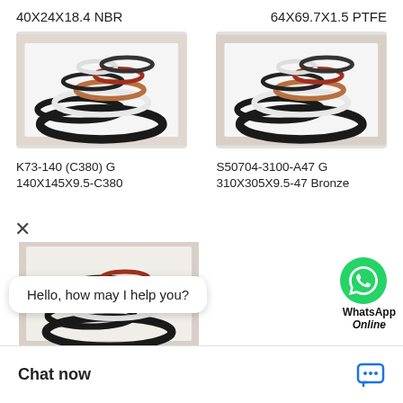40X24X18.4 NBR
64X69.7X1.5 PTFE
[Figure (photo): Photograph of hydraulic/pneumatic seal rings and O-rings in various colors (black, white, copper/brown) arranged on a white surface - left product image]
[Figure (photo): Photograph of hydraulic/pneumatic seal rings and O-rings in various colors (black, white, copper/brown) arranged on a white surface - right product image]
K73-140 (C380) G 140X145X9.5-C380
S50704-3100-A47 G 310X305X9.5-47 Bronze
[Figure (photo): Photograph of hydraulic/pneumatic seal rings and O-rings in various colors arranged on a white surface - bottom left product image]
Hello, how may I help you?
Chat now